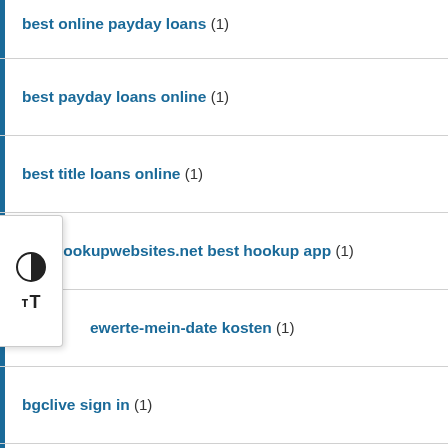best online payday loans (1)
best payday loans online (1)
best title loans online (1)
besthookupwebsites.net best hookup app (1)
ewerte-mein-date kosten (1)
bgclive sign in (1)
Bhm Seznamka mobilni web (1)
big payday loans (1)